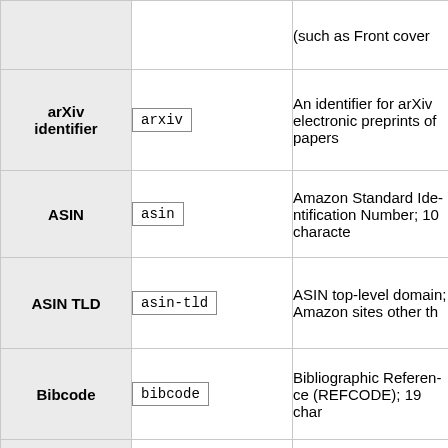| Name | Code | Description |
| --- | --- | --- |
|  |  | (such as Front cover |
| arXiv identifier | arxiv | An identifier for arXiv electronic preprints of papers |
| ASIN | asin | Amazon Standard Identification Number; 10 characters |
| ASIN TLD | asin-tld | ASIN top-level domain; Amazon sites other than |
| Bibcode | bibcode | Bibliographic Reference (REFCODE); 19 characters |
| biorXiv | biorxiv | biorXiv identifier; 6 digits |